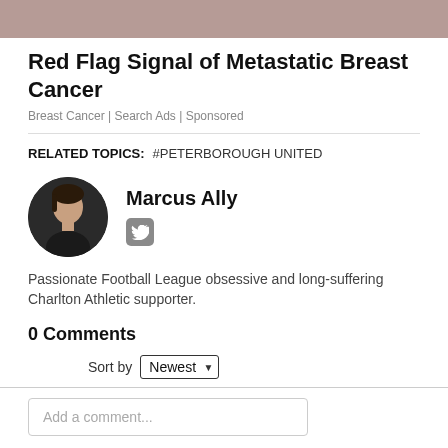[Figure (photo): Cropped top portion of a photo showing a person, partial view visible at top of page]
Red Flag Signal of Metastatic Breast Cancer
Breast Cancer | Search Ads | Sponsored
RELATED TOPICS: #PETERBOROUGH UNITED
[Figure (photo): Circular profile photo of Marcus Ally, a young man with dark hair against dark background]
Marcus Ally
[Figure (logo): Twitter/X social media icon in grey rounded square]
Passionate Football League obsessive and long-suffering Charlton Athletic supporter.
0 Comments
Sort by Newest